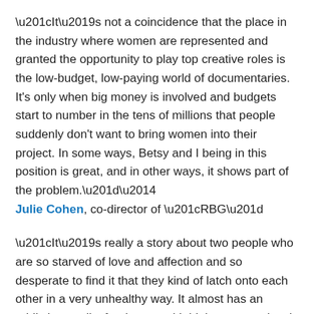“It’s not a coincidence that the place in the industry where women are represented and granted the opportunity to play top creative roles is the low-budget, low-paying world of documentaries. It’s only when big money is involved and budgets start to number in the tens of millions that people suddenly don’t want to bring women into their project. In some ways, Betsy and I being in this position is great, and in other ways, it shows part of the problem.”—Julie Cohen, co-director of “RBG”
“It’s really a story about two people who are so starved of love and affection and so desperate to find it that they kind of latch onto each other in a very unhealthy way. It almost has an addictive quality for them, and I think, on some level, everyone can relate to that—clinging onto things that we know on some deeper, subconscious level aren’t great